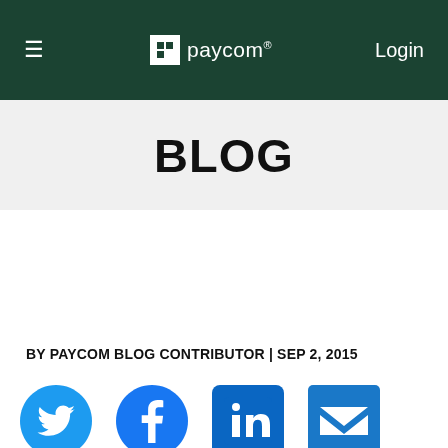≡  paycom®  Login
BLOG
BY PAYCOM BLOG CONTRIBUTOR | SEP 2, 2015
[Figure (other): Social sharing icons row: Twitter (bird), Facebook (f), LinkedIn (in), Email (envelope) — all in blue]
We use cookies to customize experiences on our site. Additional information about data collection is available at our privacy policy.